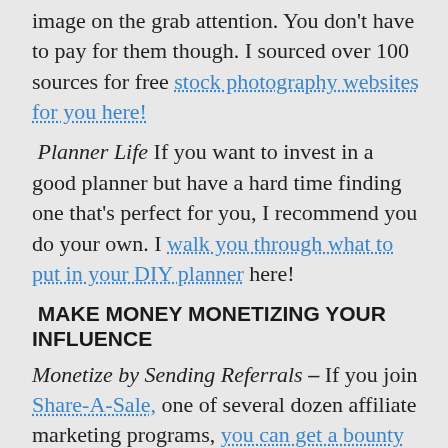image on the grab attention. You don't have to pay for them though. I sourced over 100 sources for free stock photography websites for you here!
Planner Life If you want to invest in a good planner but have a hard time finding one that's perfect for you, I recommend you do your own. I walk you through what to put in your DIY planner here!
MAKE MONEY MONETIZING YOUR INFLUENCE
Monetize by Sending Referrals – If you join Share-A-Sale, one of several dozen affiliate marketing programs, you can get a bounty of up to $200 or more for a referral as a blogger.
Sell Something – Make money by selling products, printables, t-shirts, mugs on your site. Open an eCommerce site using Shopify. This tutorial shows